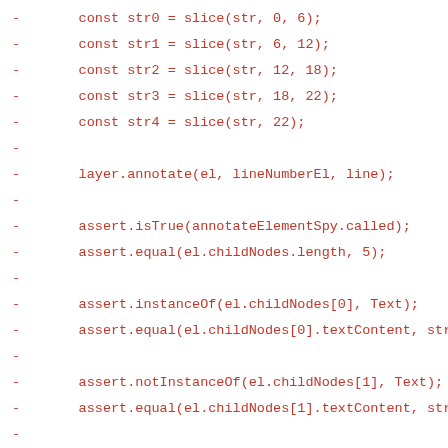- const str0 = slice(str, 0, 6);
- const str1 = slice(str, 6, 12);
- const str2 = slice(str, 12, 18);
- const str3 = slice(str, 18, 22);
- const str4 = slice(str, 22);
-
- layer.annotate(el, lineNumberEl, line);
-
- assert.isTrue(annotateElementSpy.called);
- assert.equal(el.childNodes.length, 5);
-
- assert.instanceOf(el.childNodes[0], Text);
- assert.equal(el.childNodes[0].textContent, str0
-
- assert.notInstanceOf(el.childNodes[1], Text);
- assert.equal(el.childNodes[1].textContent, str1
-
- assert.instanceOf(el.childNodes[2], Text);
- assert.equal(el.childNodes[2].textContent, str2
-
- assert.notInstanceOf(el.childNodes[3], Text);
- assert.equal(el.childNodes[3].textContent, str3